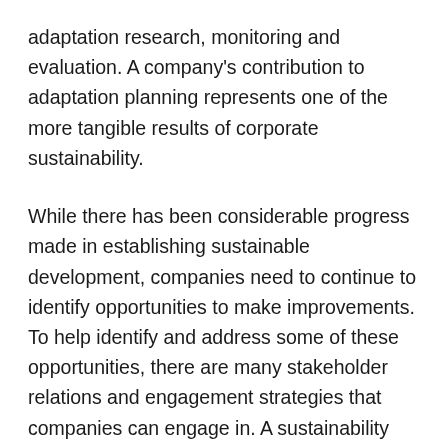adaptation research, monitoring and evaluation. A company's contribution to adaptation planning represents one of the more tangible results of corporate sustainability.
While there has been considerable progress made in establishing sustainable development, companies need to continue to identify opportunities to make improvements. To help identify and address some of these opportunities, there are many stakeholder relations and engagement strategies that companies can engage in. A sustainability manager should be involved in discussions with all of the stakeholders, including the public and their representatives. Companies need to develop a long term sustainability